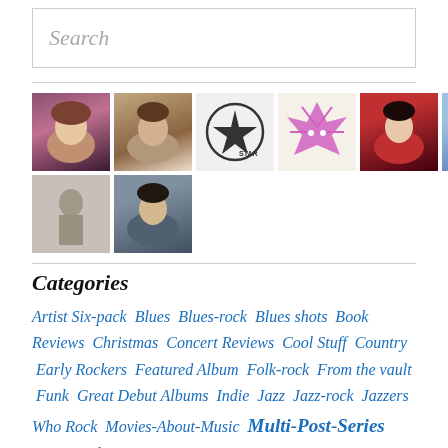Search
[Figure (photo): Grid of 10 user avatar photos/icons arranged in two rows]
Categories
Artist Six-pack Blues Blues-rock Blues shots Book Reviews Christmas Concert Reviews Cool Stuff Country Early Rockers Featured Album Folk-rock From the vault Funk Great Debut Albums Indie Jazz Jazz-rock Jazzers Who Rock Movies-About-Music Multi-Post-Series Music Industry New Wave One